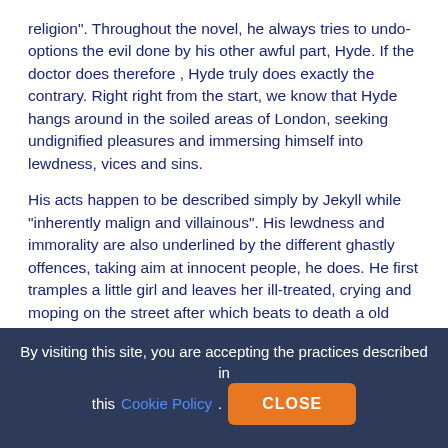religion". Throughout the novel, he always tries to undo-options the evil done by his other awful part, Hyde. If the doctor does therefore , Hyde truly does exactly the contrary.  Right right from the start, we know that Hyde hangs around in the soiled areas of London, seeking undignified pleasures and immersing himself into lewdness, vices and sins.
His acts happen to be described simply by Jekyll while "inherently malign and villainous". His lewdness and immorality are also underlined by the different ghastly offences, taking aim at innocent people, he does. He first tramples a little girl and leaves her ill-treated, crying and moping on the street after which beats to death a old man.
We come across that Hyde is not only much less developed and more primitive in the actions than Jekyll, but also that these kinds of very activities are hazardous for the society and lead to the destruction of the individual, as the author demonstrates when
By visiting this site, you are accepting the practices described in this Cookie Policy.